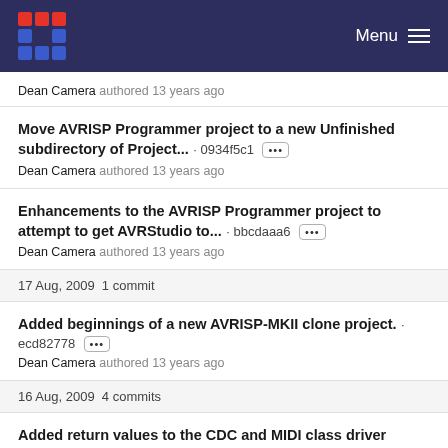Menu
Dean Camera authored 13 years ago
Move AVRISP Programmer project to a new Unfinished subdirectory of Project... · 0934f5c1 — Dean Camera authored 13 years ago
Enhancements to the AVRISP Programmer project to attempt to get AVRStudio to... · bbcdaaa6 — Dean Camera authored 13 years ago
17 Aug, 2009 1 commit
Added beginnings of a new AVRISP-MKII clone project. · ecd82778 — Dean Camera authored 13 years ago
16 Aug, 2009 4 commits
Added return values to the CDC and MIDI class driver transmit functions. · 09bedd65